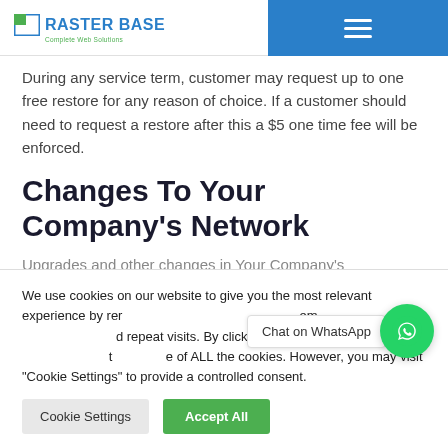RASTER BASE - Complete Web Solutions
During any service term, customer may request up to one free restore for any reason of choice. If a customer should need to request a restore after this a $5 one time fee will be enforced.
Changes To Your Company's Network
Upgrades and other changes in Your Company's
We use cookies on our website to give you the most relevant experience by remembering your preferences and repeat visits. By clicking "Accept All", you consent to the use of ALL the cookies. However, you may visit "Cookie Settings" to provide a controlled consent.